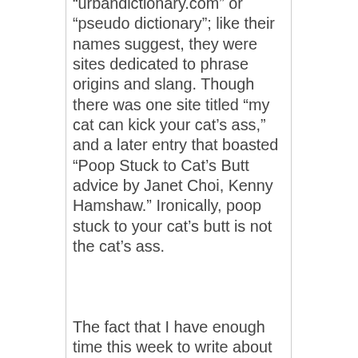“urbandictionary.com” or “pseudo dictionary”; like their names suggest, they were sites dedicated to phrase origins and slang. Though there was one site titled “my cat can kick your cat’s ass,” and a later entry that boasted “Poop Stuck to Cat’s Butt advice by Janet Choi, Kenny Hamshaw.” Ironically, poop stuck to your cat’s butt is not the cat’s ass.
The fact that I have enough time this week to write about